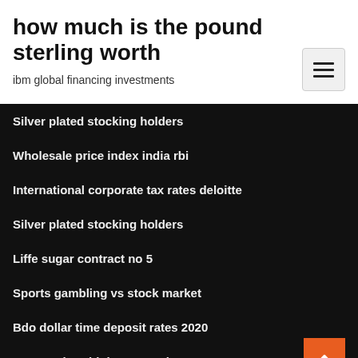how much is the pound sterling worth
ibm global financing investments
Silver plated stocking holders
Wholesale price index india rbi
International corporate tax rates deloitte
Silver plated stocking holders
Liffe sugar contract no 5
Sports gambling vs stock market
Bdo dollar time deposit rates 2020
Bse stocks with low p e ratio
Line graphs and bar charts